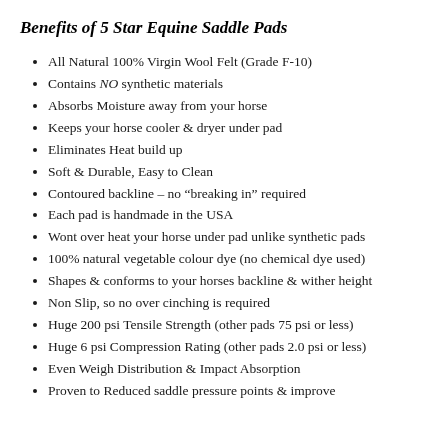Benefits of 5 Star Equine Saddle Pads
All Natural 100% Virgin Wool Felt (Grade F-10)
Contains NO synthetic materials
Absorbs Moisture away from your horse
Keeps your horse cooler & dryer under pad
Eliminates Heat build up
Soft & Durable, Easy to Clean
Contoured backline – no “breaking in” required
Each pad is handmade in the USA
Wont over heat your horse under pad unlike synthetic pads
100% natural vegetable colour dye (no chemical dye used)
Shapes & conforms to your horses backline & wither height
Non Slip, so no over cinching is required
Huge 200 psi Tensile Strength (other pads 75 psi or less)
Huge 6 psi Compression Rating (other pads 2.0 psi or less)
Even Weigh Distribution & Impact Absorption
Proven to Reduced saddle pressure points & improve